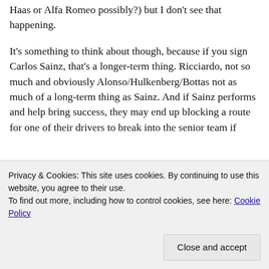Haas or Alfa Romeo possibly?) but I don't see that happening.
It's something to think about though, because if you sign Carlos Sainz, that's a longer-term thing. Ricciardo, not so much and obviously Alonso/Hulkenberg/Bottas not as much of a long-term thing as Sainz. And if Sainz performs and help bring success, they may end up blocking a route for one of their drivers to break into the senior team if
Privacy & Cookies: This site uses cookies. By continuing to use this website, you agree to their use.
To find out more, including how to control cookies, see here: Cookie Policy